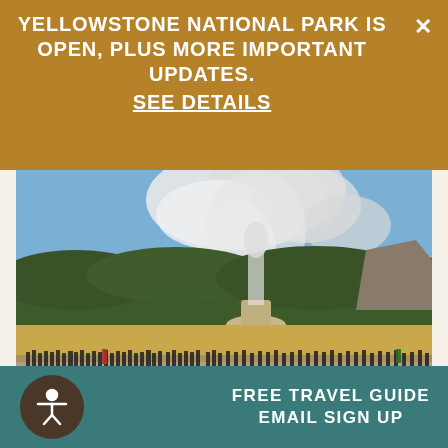YELLOWSTONE NATIONAL PARK IS OPEN, PLUS MORE IMPORTANT UPDATES. SEE DETAILS
[Figure (photo): Crowd of visitors watching Old Faithful geyser erupting at Yellowstone National Park. A large plume of steam rises against a blue sky, with forested hills in the background. Visitors stand along a boardwalk in the foreground.]
Whether you’re here for a day or a week, there are
FREE TRAVEL GUIDE EMAIL SIGN UP